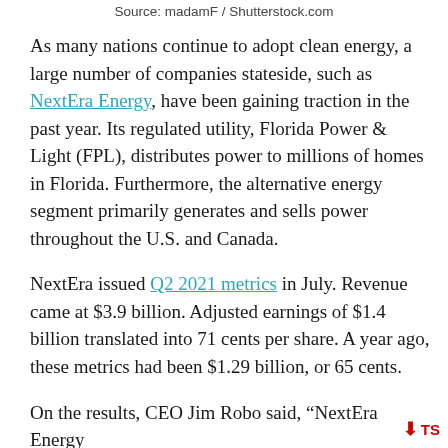Source: madamF / Shutterstock.com
As many nations continue to adopt clean energy, a large number of companies stateside, such as NextEra Energy, have been gaining traction in the past year. Its regulated utility, Florida Power & Light (FPL), distributes power to millions of homes in Florida. Furthermore, the alternative energy segment primarily generates and sells power throughout the U.S. and Canada.
NextEra issued Q2 2021 metrics in July. Revenue came at $3.9 billion. Adjusted earnings of $1.4 billion translated into 71 cents per share. A year ago, these metrics had been $1.29 billion, or 65 cents.
On the results, CEO Jim Robo said, “NextEra Energy